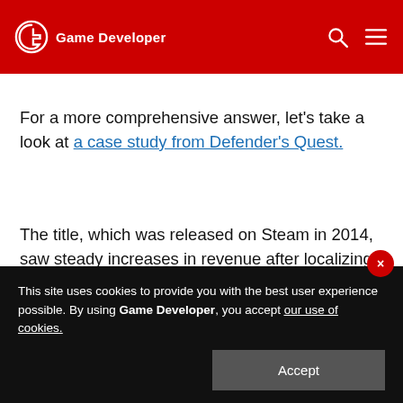Game Developer
For a more comprehensive answer, let's take a look at a case study from Defender's Quest.
The title, which was released on Steam in 2014, saw steady increases in revenue after localizing for major markets – including Russia.
This site uses cookies to provide you with the best user experience possible. By using Game Developer, you accept our use of cookies.